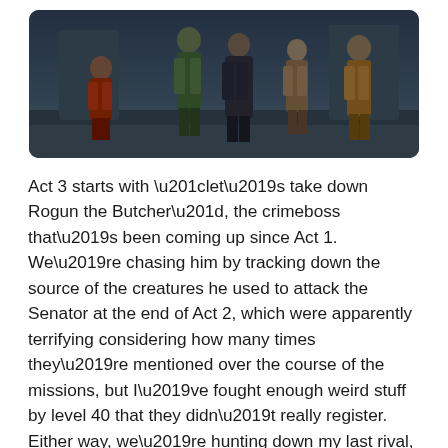[Figure (screenshot): Screenshot from a video game showing multiple characters standing together in a sci-fi/fantasy environment. Characters include armored figures and humanoid aliens.]
Act 3 starts with “let’s take down Rogun the Butcher”, the crimeboss that’s been coming up since Act 1. We’re chasing him by tracking down the source of the creatures he used to attack the Senator at the end of Act 2, which were apparently terrifying considering how many times they’re mentioned over the course of the missions, but I’ve fought enough weird stuff by level 40 that they didn’t really register. Either way, we’re hunting down my last rival, who may or may not be working with the Voidwold, that Imperial who keeps coming up for some reason, and have a plan for getting him. I’m on board.
The first step is chasing down his former mentor, in